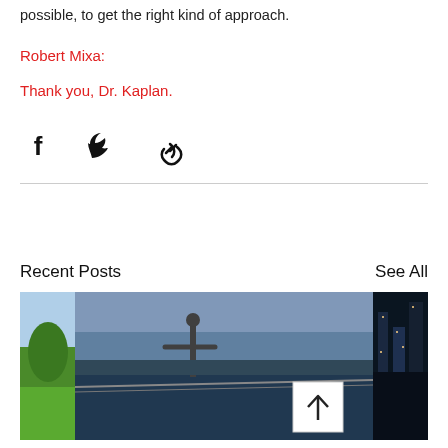possible, to get the right kind of approach.
Robert Mixa:
Thank you, Dr. Kaplan.
[Figure (infographic): Social share icons: Facebook, Twitter, Link]
Recent Posts
See All
[Figure (photo): Three partially visible image thumbnails side by side. Left: green park/garden with sky. Center: aerial view of a Christ the Redeemer-style statue overlooking a city and bay with a bridge. Right: dark cityscape at night. A white box with an upward arrow (scroll-to-top button) overlays the bottom-right of the center image.]